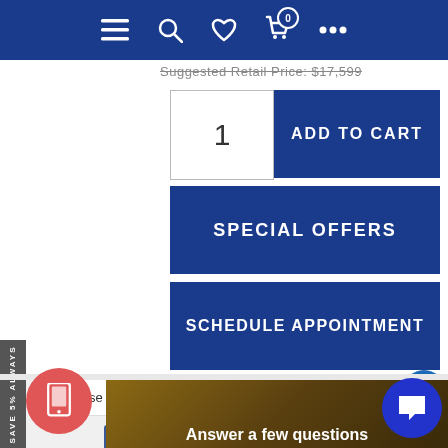[Figure (screenshot): E-commerce product page screenshot showing navigation bar, Add to Cart button with quantity selector, Special Offers button, Schedule Appointment button, address selector, social share icons, and bottom section with 'Answer a few questions' text.]